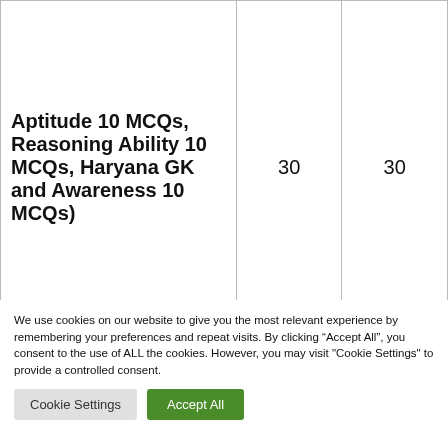| Aptitude 10 MCQs, Reasoning Ability 10 MCQs, Haryana GK and Awareness 10 MCQs) | 30 | 30 |
| Languages |  |  |
We use cookies on our website to give you the most relevant experience by remembering your preferences and repeat visits. By clicking “Accept All”, you consent to the use of ALL the cookies. However, you may visit "Cookie Settings" to provide a controlled consent.